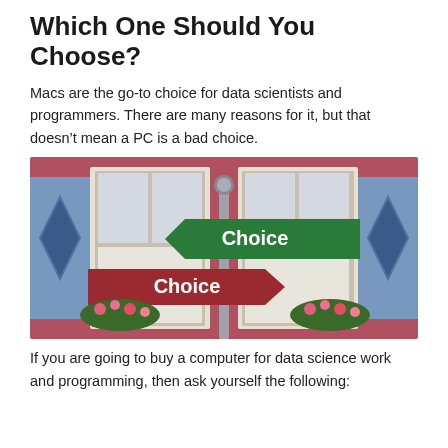Which One Should You Choose?
Macs are the go-to choice for data scientists and programmers. There are many reasons for it, but that doesn't mean a PC is a bad choice.
[Figure (photo): Two street signs on a pole against a colorful European-style building. The green left-pointing sign reads 'Choice' and the red right-pointing sign reads 'Choice'.]
If you are going to buy a computer for data science work and programming, then ask yourself the following: